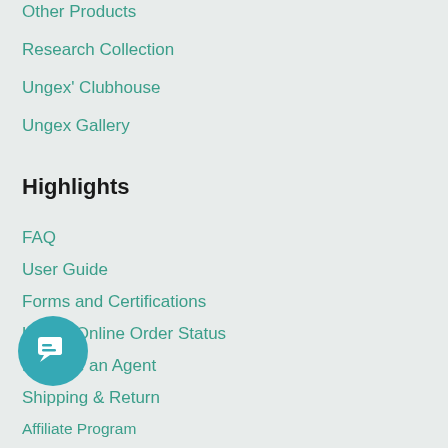Other Products
Research Collection
Ungex' Clubhouse
Ungex Gallery
Highlights
FAQ
User Guide
Forms and Certifications
Ungex Online Order Status
Become an Agent
Shipping & Return
Affiliate Program
Novel Coronavirus
Business
Amazon